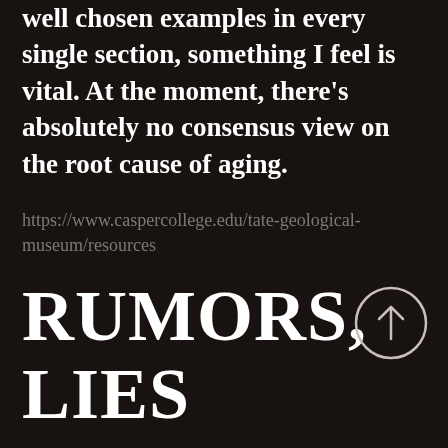well chosen examples in every single section, something I feel is vital. At the moment, there's absolutely no consensus view on the root cause of aging.
https://www.caspercollege.edu/tate-geological-museum/resources
RUMORS, LIES AND KINGDOM IN